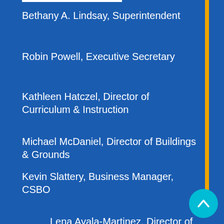Bethany A. Lindsay, Superintendent
Robin Powell, Executive Secretary
Kathleen Hatczel, Director of Curriculum & Instruction
Michael McDaniel, Director of Buildings & Grounds
Kevin Slattery, Business Manager, CSBO
Lena Ayala-Martinez, Director of Student Support Services
Tracie McCleverty, Secretary for Student Support Services